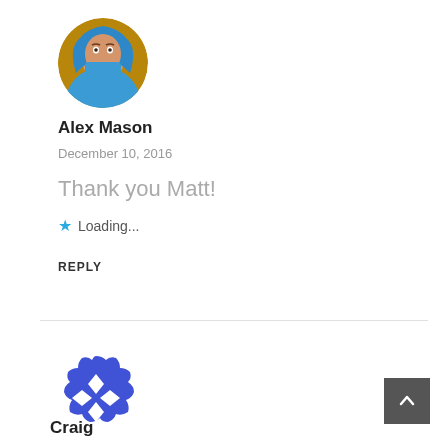[Figure (photo): Circular avatar photo of Alex Mason wearing a blue puffy jacket/hood pulled up around face]
Alex Mason
December 10, 2016
Thank you Matt!
Loading...
REPLY
[Figure (logo): Craig's avatar: blue badge/seal icon with white diamond/cross shapes inside]
Craig